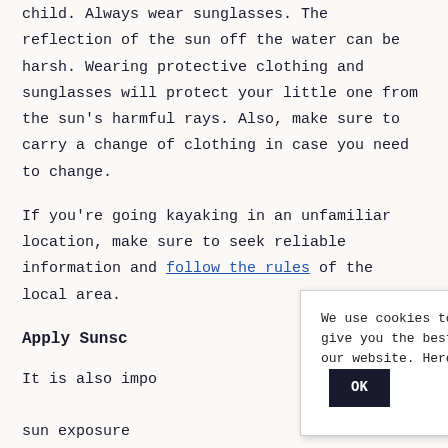child. Always wear sunglasses. The reflection of the sun off the water can be harsh. Wearing protective clothing and sunglasses will protect your little one from the sun's harmful rays. Also, make sure to carry a change of clothing in case you need to change.
If you're going kayaking in an unfamiliar location, make sure to seek reliable information and follow the rules of the local area.
Apply Sunsc
It is also impo sun exposure skin of a baby. Be sure to apply sunscreen
We use cookies to ensure that we give you the best experience on our website. Here's our privacy. OK